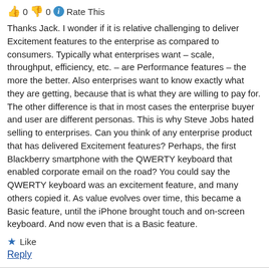👍 0 👎 0 ℹ Rate This
Thanks Jack. I wonder if it is relative challenging to deliver Excitement features to the enterprise as compared to consumers. Typically what enterprises want – scale, throughput, efficiency, etc. – are Performance features – the more the better. Also enterprises want to know exactly what they are getting, because that is what they are willing to pay for. The other difference is that in most cases the enterprise buyer and user are different personas. This is why Steve Jobs hated selling to enterprises. Can you think of any enterprise product that has delivered Excitement features? Perhaps, the first Blackberry smartphone with the QWERTY keyboard that enabled corporate email on the road? You could say the QWERTY keyboard was an excitement feature, and many others copied it. As value evolves over time, this became a Basic feature, until the iPhone brought touch and on-screen keyboard. And now even that is a Basic feature.
★ Like
Reply
👍 0 👎 0 ℹ Rate This
Very insightful.
Looking at the Kano model though, it makes me wonder whether